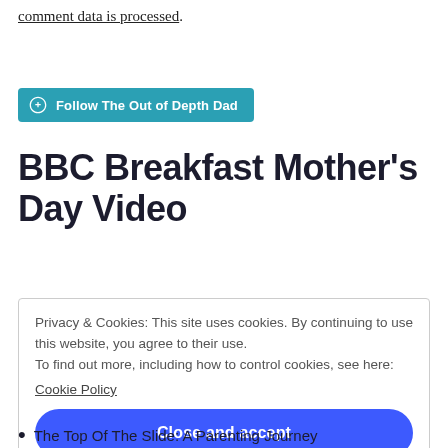comment data is processed.
Follow The Out of Depth Dad
BBC Breakfast Mother's Day Video
Privacy & Cookies: This site uses cookies. By continuing to use this website, you agree to their use. To find out more, including how to control cookies, see here: Cookie Policy
Close and accept
The Top Of The Slide: A Parenting Journey